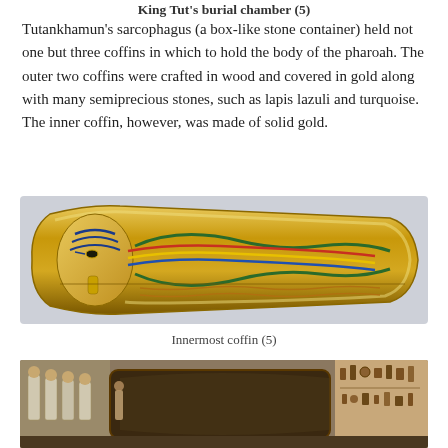King Tut's burial chamber (5)
Tutankhamun's sarcophagus (a box-like stone container) held not one but three coffins in which to hold the body of the pharoah. The outer two coffins were crafted in wood and covered in gold along with many semiprecious stones, such as lapis lazuli and turquoise. The inner coffin, however, was made of solid gold.
[Figure (photo): Innermost coffin of Tutankhamun, gold-colored sarcophagus with decorated lid showing pharaoh's face and body with ornate winged decorations]
Innermost coffin (5)
[Figure (photo): Museum exhibit showing Tutankhamun's burial chamber with painted walls and artifacts]